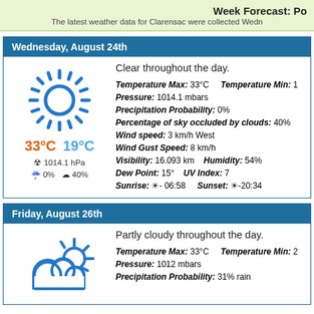Week Forecast: Po — The latest weather data for Clarensac were collected Wedn
Wednesday, August 24th
Clear throughout the day.
Temperature Max: 33°C    Temperature Min: 1
Pressure: 1014.1 mbars
Precipitation Probability: 0%
Percentage of sky occluded by clouds: 40%
Wind speed: 3 km/h West
Wind Gust Speed: 8 km/h
Visibility: 16.093 km    Humidity: 54%
Dew Point: 15°    UV Index: 7
Sunrise: ☀ 06:58    Sunset: ☀ 20:34
[Figure (illustration): Sun icon with rays, showing 33°C max and 19°C min, pressure 1014.1 hPa, precipitation 0%, clouds 40%]
Friday, August 26th
Partly cloudy throughout the day.
Temperature Max: 33°C    Temperature Min: 2
Pressure: 1012 mbars
Precipitation Probability: 31% rain